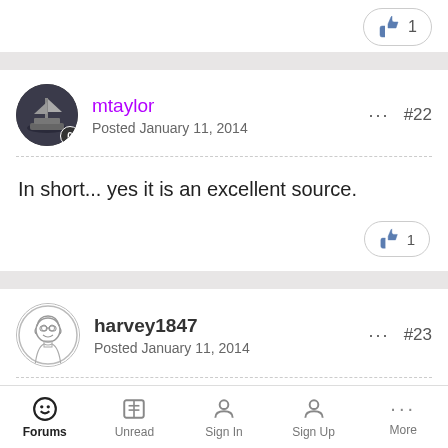[Figure (other): Like button with thumbs up icon and count of 1, top right area]
mtaylor
Posted January 11, 2014
... #22
In short... yes it is an excellent source.
[Figure (other): Like button with thumbs up icon and count of 1]
harvey1847
Posted January 11, 2014
... #23
Randall,
Forums  Unread  Sign In  Sign Up  More